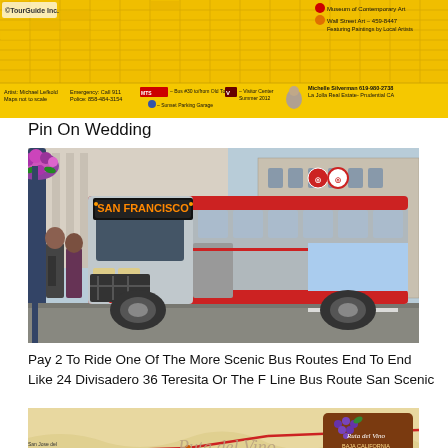[Figure (photo): Tour guide map of La Jolla area with yellow background, street grid, legend with museum icons, emergency numbers, bus route info, visitor center marker, and Michelle Silverman real estate advertisement with photo]
Pin On Wedding
[Figure (photo): San Francisco Muni bus #8401 displaying 'SAN FRANCISCO' on its destination sign, silver and red bus on a city street, pedestrians visible, hanging flower baskets on a lamp post]
Pay 2 To Ride One Of The More Scenic Bus Routes End To End Like 24 Divisadero 36 Teresita Or The F Line Bus Route San Scenic
[Figure (map): Ruta del Vino Baja California wine route map showing roads, towns including San Jose del Valle, Playas, C.Reyes, with decorative cursive title text and wooden sign logo]